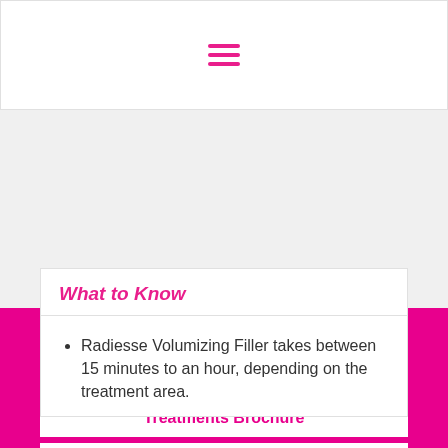☰ (navigation menu icon)
What to Know
Radiesse Volumizing Filler takes between 15 minutes to an hour, depending on the treatment area.
📞 212-397-0111
📍 139 East 57th Street, 8th floor, New York, NY 10022
View Our Treatments Brochure
Book With Us
[Figure (infographic): Social media icons: Instagram, Facebook, Twitter, Pinterest]